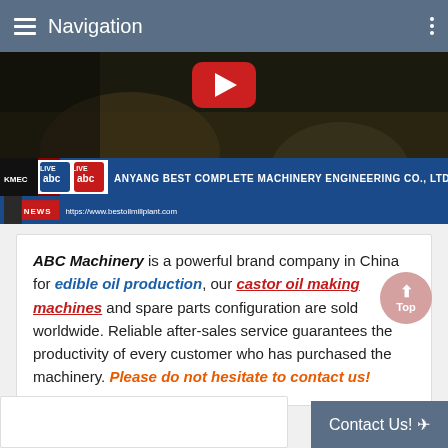Navigation
[Figure (screenshot): YouTube-style video thumbnail showing industrial machinery, with a red play button, and a news ticker at the bottom reading ANYANG BEST COMPLETE MACHINERY ENGINEERING CO., LTD with ABC Machinery logos and URL https://www.bestoilmillplant.com]
ABC Machinery is a powerful brand company in China for edible oil production, our castor oil making machines and spare parts configuration are sold worldwide. Reliable after-sales service guarantees the productivity of every customer who has purchased the machinery. Please do not hesitate to contact us!